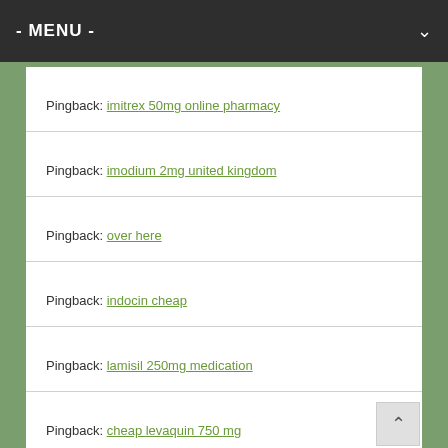- MENU -
Pingback: imitrex 50mg online pharmacy
Pingback: imodium 2mg united kingdom
Pingback: over here
Pingback: indocin cheap
Pingback: lamisil 250mg medication
Pingback: cheap levaquin 750 mg
Pingback: lopid united states